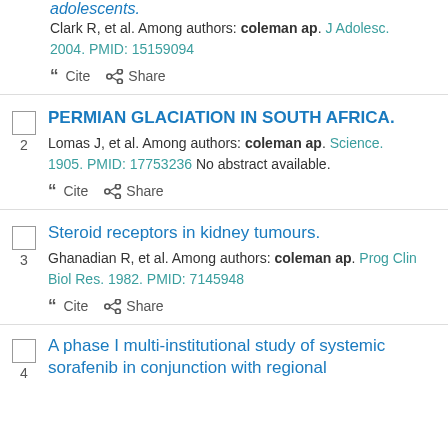adolescents.
Clark R, et al. Among authors: coleman ap. J Adolesc. 2004. PMID: 15159094
Cite  Share
PERMIAN GLACIATION IN SOUTH AFRICA.
Lomas J, et al. Among authors: coleman ap. Science. 1905. PMID: 17753236 No abstract available.
Cite  Share
Steroid receptors in kidney tumours.
Ghanadian R, et al. Among authors: coleman ap. Prog Clin Biol Res. 1982. PMID: 7145948
Cite  Share
A phase I multi-institutional study of systemic sorafenib in conjunction with regional